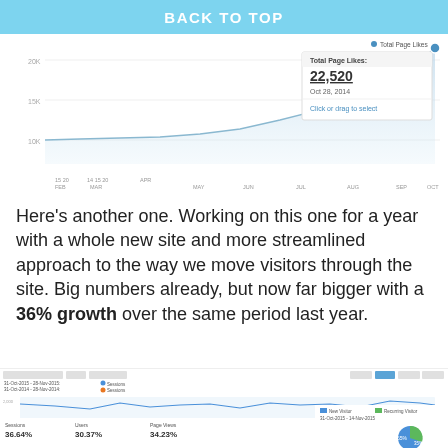BACK TO TOP
[Figure (area-chart): Area chart showing Total Page Likes growing from ~10K to 22,520 by Oct 28, 2014. Tooltip shows: Total Page Likes 22,520 Oct 28, 2014 Click or drag to select]
Here’s another one. Working on this one for a year with a whole new site and more streamlined approach to the way we move visitors through the site. Big numbers already, but now far bigger with a 36% growth over the same period last year.
[Figure (line-chart): Two-line chart: blue line (Sessions 2015) ranging ~1500-2000, orange line (Sessions 2014) ranging ~900-1400. X-axis: 5-Nov, 12-Nov, 19-Nov, 26-Nov. Stats shown: Sessions 36.64% (36,121 vs 26,780), Users 30.37% (28,460 vs 21,832), Page Views 34.23% (101,825 vs 69,771), Pages/Session -1.76% (2.41 vs 2.47), Avg Session Duration -5.67% (00:02:24 vs 00:02:33), Bounce Rate 6.92% (35.68% vs 33.17%). Pie chart shows New Visitor vs Recurring Visitor 31-Oct-2015 to 14-Nov-2015.]
| Sessions | Users | Page Views | Pages/Session | Avg. Session Duration | Bounce Rate |
| --- | --- | --- | --- | --- | --- |
| 36.64% | 30.37% | 34.23% | -1.76% | -5.67% | 6.92% |
| 36,121 vs 26,780 | 28,460 vs 21,832 | 101,825 vs 69,771 | 2.41 vs 2.47 | 00:02:24 vs 00:02:33 | 35.68% vs 33.17% |